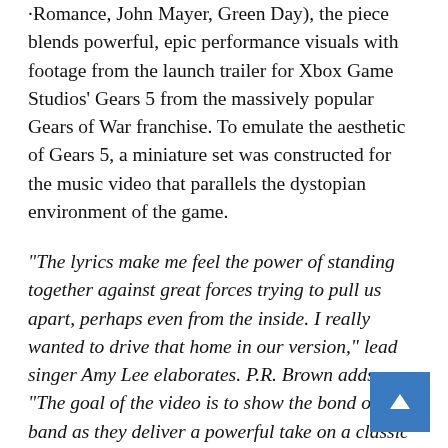·Romance, John Mayer, Green Day), the piece blends powerful, epic performance visuals with footage from the launch trailer for Xbox Game Studios' Gears 5 from the massively popular Gears of War franchise. To emulate the aesthetic of Gears 5, a miniature set was constructed for the music video that parallels the dystopian environment of the game.
“The lyrics make me feel the power of standing together against great forces trying to pull us apart, perhaps even from the inside. I really wanted to drive that home in our version,” lead singer Amy Lee elaborates. P.R. Brown adds, “The goal of the video is to show the bond of this band as they deliver a powerful take on a classic song. The tie in with Gears 5 presented an opportunity to combine the gam world together with the band performance in a post apocalyptic setting. The band emerges from the